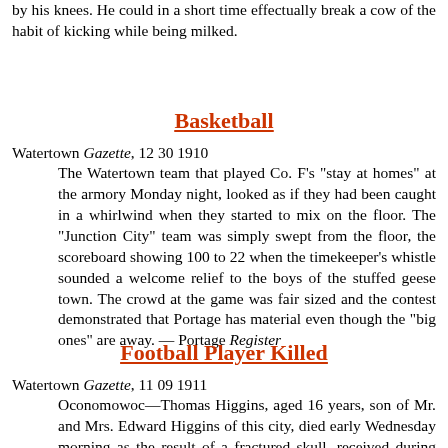by his knees. He could in a short time effectually break a cow of the habit of kicking while being milked.
Basketball
Watertown Gazette, 12 30 1910
The Watertown team that played Co. F's "stay at homes" at the armory Monday night, looked as if they had been caught in a whirlwind when they started to mix on the floor. The "Junction City" team was simply swept from the floor, the scoreboard showing 100 to 22 when the timekeeper's whistle sounded a welcome relief to the boys of the stuffed geese town. The crowd at the game was fair sized and the contest demonstrated that Portage has material even though the "big ones" are away. — Portage Register
Football Player Killed
Watertown Gazette, 11 09 1911
Oconomowoc—Thomas Higgins, aged 16 years, son of Mr. and Mrs. Edward Higgins of this city, died early Wednesday morning as the result of a fractured skull, received during football practice on Tuesday. Young Higgins was a member of the high school team and was preparing with the others of